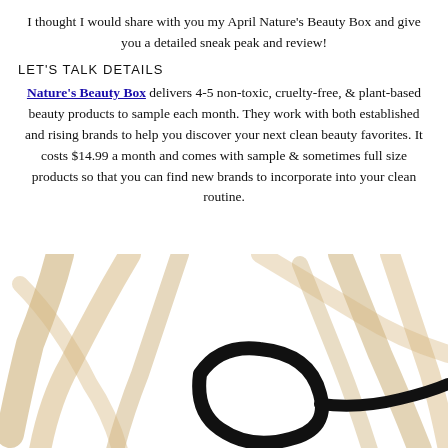I thought I would share with you my April Nature's Beauty Box and give you a detailed sneak peak and review!
LET'S TALK DETAILS
Nature's Beauty Box delivers 4-5 non-toxic, cruelty-free, & plant-based beauty products to sample each month. They work with both established and rising brands to help you discover your next clean beauty favorites. It costs $14.99 a month and comes with sample & sometimes full size products so that you can find new brands to incorporate into your clean routine.
[Figure (illustration): Decorative brushstroke illustration with gold/tan diagonal strokes and a black curved brushstroke in the lower center, abstract artistic background]